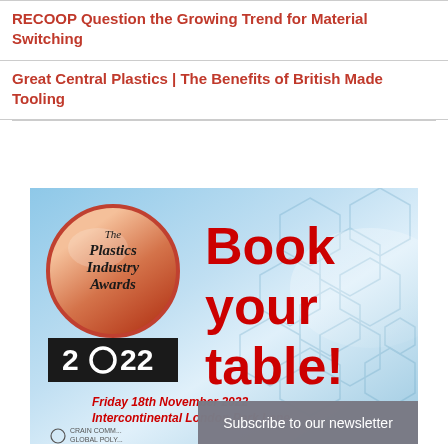RECOOP Question the Growing Trend for Material Switching
Great Central Plastics | The Benefits of British Made Tooling
[Figure (illustration): Plastics Industry Awards 2022 promotional banner showing the award badge logo, 'Book your table!' text in red, event date Friday 18th November 2022 at Intercontinental London Park Lane, with Crain Communications Global Polymers branding, and a 'Subscribe to our newsletter' overlay bar.]